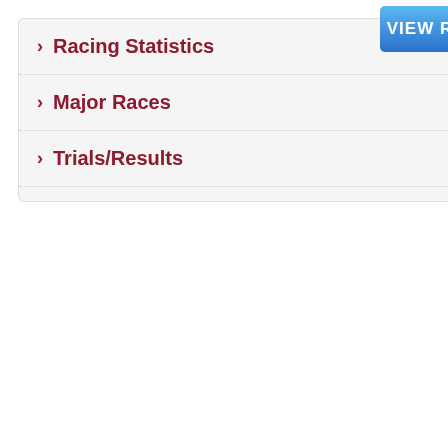> Racing Statistics
> Major Races
> Trials/Results
[Figure (screenshot): VIEW R button (truncated) - blue gradient button]
| FP | Margin | No (Draw) | OR |
| --- | --- | --- | --- |
| 1st |  | 10 (9) | 12 |
| 2nd | 3 | 12 (5) | 11 |
| 3rd | 1 | 5 (12) | 10 |
| 4th | 0.75 | 3 (8) | 10 |
| 5th | 0.75 | 8 (2) | 11 |
| 6th | 1.25 | 9 (4) | 11 |
| 7th | 1.5 | 4 (11) | 11 |
| 8th | 2 | 2 (10) | 1 |